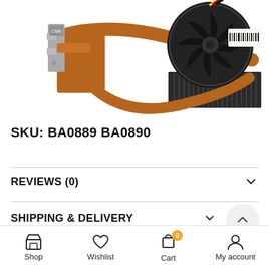[Figure (photo): Laptop CPU cooling heatsink fan assembly with copper heat pipes and a round fan module. Barcode label visible on the fan. The fan has yellow and red wires. Background is white.]
SKU: BA0889 BA0890
REVIEWS (0)
SHIPPING & DELIVERY
Shop  Wishlist  Cart (0)  My account